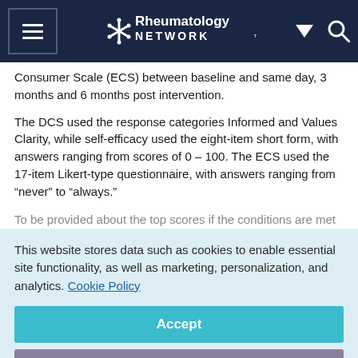Rheumatology Network
Consumer Scale (ECS) between baseline and same day, 3 months and 6 months post intervention.
The DCS used the response categories Informed and Values Clarity, while self-efficacy used the eight-item short form, with answers ranging from scores of 0 – 100. The ECS used the 17-item Likert-type questionnaire, with answers ranging from “never” to “always.”
This website stores data such as cookies to enable essential site functionality, as well as marketing, personalization, and analytics. Cookie Policy
Accept
Deny